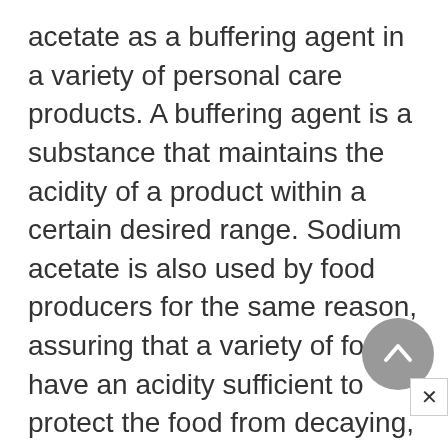acetate as a buffering agent in a variety of personal care products. A buffering agent is a substance that maintains the acidity of a product within a certain desired range. Sodium acetate is also used by food producers for the same reason, assuring that a variety of foods have an acidity sufficient to protect the food from decaying, but not so acidic as to have an unpleasant taste. Some other applications of sodium acetate include: